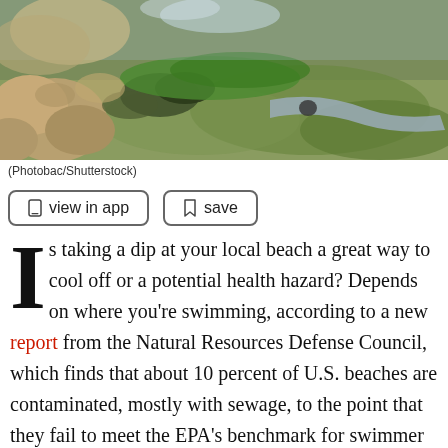[Figure (photo): Rocky shoreline with algae-covered rocks and greenish algae growth along sandy ground, outdoor daylight photo.]
(Photobac/Shutterstock)
Is taking a dip at your local beach a great way to cool off or a potential health hazard? Depends on where you're swimming, according to a new report from the Natural Resources Defense Council, which finds that about 10 percent of U.S. beaches are contaminated, mostly with sewage, to the point that they fail to meet the EPA's benchmark for swimmer safety.